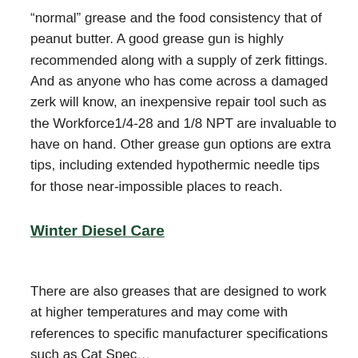“normal” grease and the food consistency that of peanut butter. A good grease gun is highly recommended along with a supply of zerk fittings. And as anyone who has come across a damaged zerk will know, an inexpensive repair tool such as the Workforce1/4-28 and 1/8 NPT are invaluable to have on hand. Other grease gun options are extra tips, including extended hypothermic needle tips for those near-impossible places to reach.
Winter Diesel Care
There are also greases that are designed to work at higher temperatures and may come with references to specific manufacturer specifications such as Cat Spec...